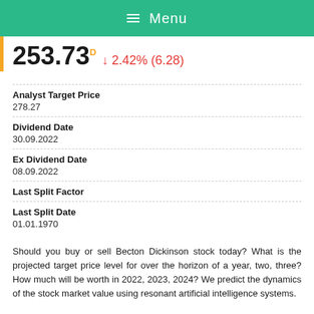Menu
253.73 ↓ 2.42% (6.28)
| Field | Value |
| --- | --- |
| Analyst Target Price | 278.27 |
| Dividend Date | 30.09.2022 |
| Ex Dividend Date | 08.09.2022 |
| Last Split Factor |  |
| Last Split Date | 01.01.1970 |
Should you buy or sell Becton Dickinson stock today? What is the projected target price level for over the horizon of a year, two, three? How much will be worth in 2022, 2023, 2024? We predict the dynamics of the stock market value using resonant artificial intelligence systems.